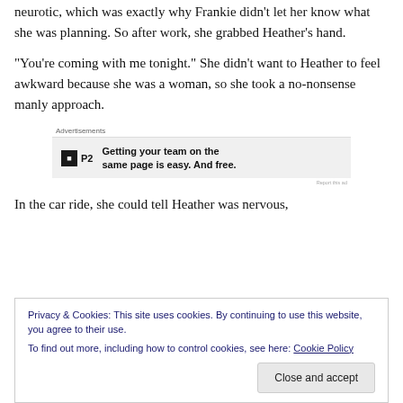neurotic, which was exactly why Frankie didn't let her know what she was planning. So after work, she grabbed Heather's hand.
"You're coming with me tonight." She didn't want to Heather to feel awkward because she was a woman, so she took a no-nonsense manly approach.
[Figure (screenshot): Advertisement banner for P2 with text: Getting your team on the same page is easy. And free.]
In the car ride, she could tell Heather was nervous,
Privacy & Cookies: This site uses cookies. By continuing to use this website, you agree to their use.
To find out more, including how to control cookies, see here: Cookie Policy